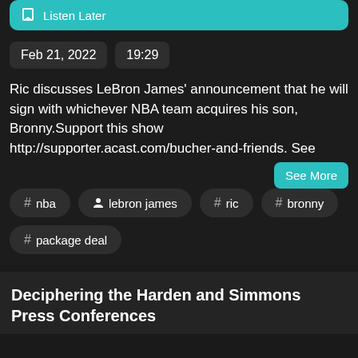Listen Later
Feb 21, 2022  19:29
Ric discusses LeBron James' announcement that he will sign with whichever NBA team acquires his son, Bronny.Support this show http://supporter.acast.com/bucher-and-friends. See
# nba
lebron james
# ric
# bronny
# package deal
Deciphering the Harden and Simmons Press Conferences